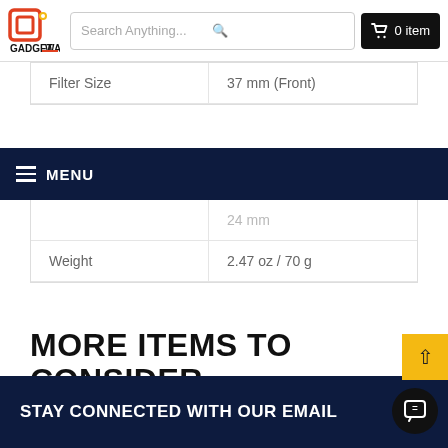Gadget Ward — Search Anything... | 0 item
| Filter Size | 37 mm (Front) |
| --- | --- |
| Filter Size | 37 mm (Front) |
|  | 24 mm |
| Weight | 2.47 oz / 70 g |
MENU
MORE ITEMS TO CONSIDER
STAY CONNECTED WITH OUR EMAIL